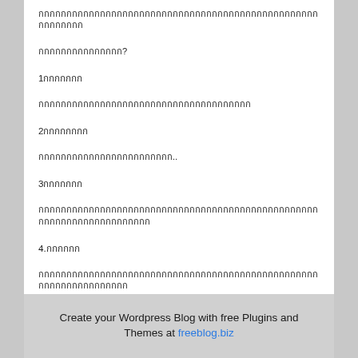กกกกกกกกกกกกกกกกกกกกกกกกกกกกกกกกกกกกกกกกกกกกกกก
กกกกกกกกกกกกกกก?
1กกกกกกก
กกกกกกกกกกกกกกกกกกกกกกกกกกกกกกกกกกกกก
2กกกกกกกก
กกกกกกกกกกกกกกกกกกกกกกกก..
3กกกกกกก
กกกกกกกกกกกกกกกกกกกกกกกกกกกกกกกกกกกกกกกกกกกกกกกกกกกกก
4.กกกกกก
กกกกกกกกกกกกกกกกกกกกกกกกกกกกกกกกกกกกกกกกกกกกกกกกกกกกก
Create your Wordpress Blog with free Plugins and Themes at freeblog.biz